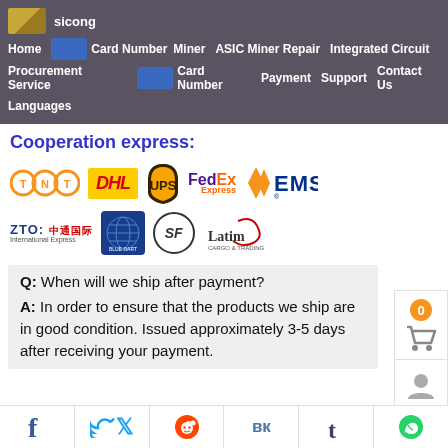sicong | Home | Miner | ASIC Miner Repair | Integrated Circuit | Card Number | Procurement Service | Payment | Support | Contact Us | Card Number | Languages
Cooperation express:
[Figure (logo): Shipping carrier logos: TNT, DHL, UPS, FedEx Express, EMS, ZTO, Blue Dart, SF Express, Latim Cargo & Trading]
Q: When will we ship after payment?
A: In order to ensure that the products we ship are in good condition. Issued approximately 3-5 days after receiving your payment.
Social share icons: Facebook, Twitter, Reddit, VK, Tumblr, WhatsApp